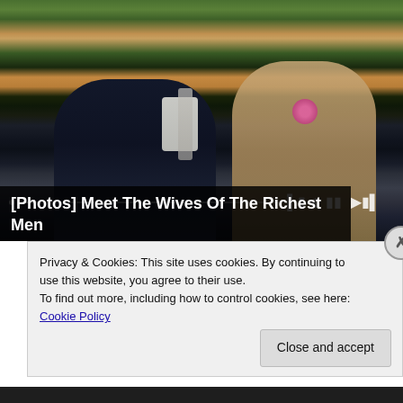[Figure (photo): Two people sitting in stadium stands at what appears to be a tennis event (Wimbledon). An older man in a dark navy suit with gray tie and sunglasses on the left, and a young woman with long brown hair, sunglasses, and a pink floral accessory on a beige outfit on the right. Media player controls (skip-back, pause, skip-forward) and a progress bar are overlaid at the bottom of the image.]
[Photos] Meet The Wives Of The Richest Men Alive
Privacy & Cookies: This site uses cookies. By continuing to use this website, you agree to their use.
To find out more, including how to control cookies, see here: Cookie Policy